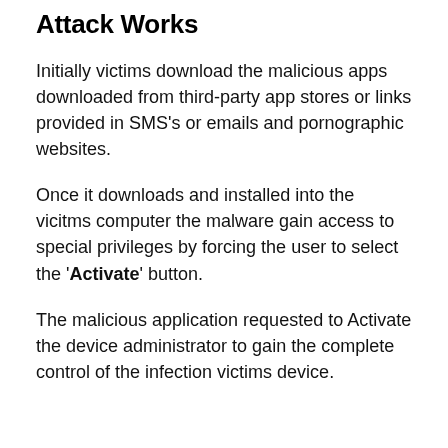Attack Works
Initially victims download the malicious apps downloaded from third-party app stores or links provided in SMS's or emails and pornographic websites.
Once it downloads and installed into the vicitms computer the malware gain access to special privileges by forcing the user to select the 'Activate' button.
The malicious application requested to Activate the device administrator to gain the complete control of the infection victims device.